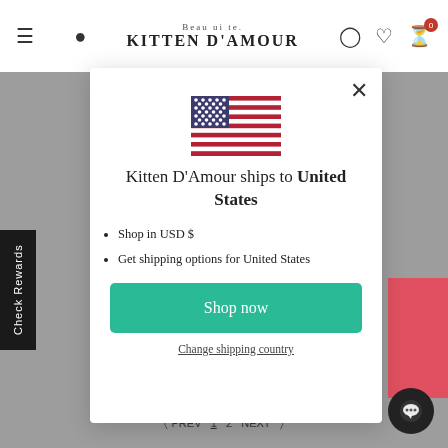Kitten D'Amour — navigation bar with menu, search, logo, account, wishlist, cart
[Figure (screenshot): US flag icon displayed in center of modal]
Kitten D'Amour ships to United States
Shop in USD $
Get shipping options for United States
Shop now
Change shipping country